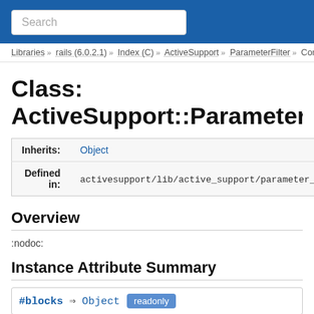Search
Libraries » rails (6.0.2.1) » Index (C) » ActiveSupport » ParameterFilter » Comp
Class: ActiveSupport::ParameterFilter::Com
|  |  |
| --- | --- |
| Inherits: | Object |
| Defined in: | activesupport/lib/active_support/parameter_filter.rb |
Overview
:nodoc:
Instance Attribute Summary
#blocks ⇒ Object  readonly
Returns the value of attribute blocks.
#b... ⇒ Object  readonly